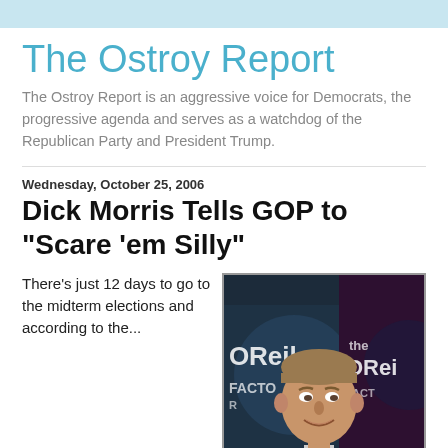The Ostroy Report
The Ostroy Report is an aggressive voice for Democrats, the progressive agenda and serves as a watchdog of the Republican Party and President Trump.
Wednesday, October 25, 2006
Dick Morris Tells GOP to "Scare 'em Silly"
There's just 12 days to go to the midterm elections and according to the...
[Figure (photo): Man appearing on The O'Reilly Factor TV show, smiling, with Fox News set background visible showing 'O'Reilly Factor' text.]